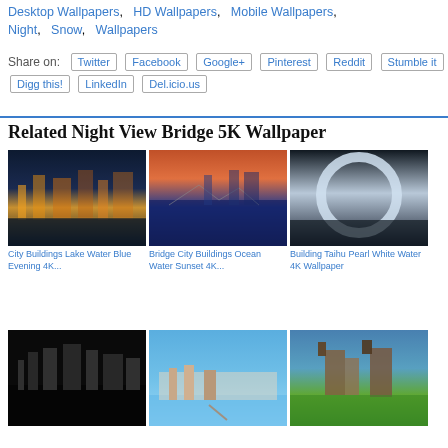Desktop Wallpapers, HD Wallpapers, Mobile Wallpapers, Night, Snow, Wallpapers
Share on: Twitter Facebook Google+ Pinterest Reddit Stumble it Digg this! LinkedIn Del.icio.us
Related Night View Bridge 5K Wallpaper
[Figure (photo): City Buildings Lake Water Blue Evening 4K photo thumbnail]
City Buildings Lake Water Blue Evening 4K...
[Figure (photo): Bridge City Buildings Ocean Water Sunset 4K photo thumbnail]
Bridge City Buildings Ocean Water Sunset 4K...
[Figure (photo): Building Taihu Pearl White Water 4K Wallpaper photo thumbnail]
Building Taihu Pearl White Water 4K Wallpaper
[Figure (photo): Black and white city skyline photo thumbnail]
[Figure (photo): Coastal town aerial view photo thumbnail]
[Figure (photo): Castle in autumn landscape photo thumbnail]